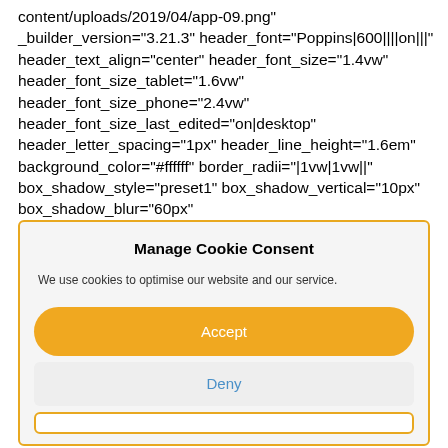content/uploads/2019/04/app-09.png" _builder_version="3.21.3" header_font="Poppins|600||||on|||" header_text_align="center" header_font_size="1.4vw" header_font_size_tablet="1.6vw" header_font_size_phone="2.4vw" header_font_size_last_edited="on|desktop" header_letter_spacing="1px" header_line_height="1.6em" background_color="#ffffff" border_radii="|1vw|1vw||" box_shadow_style="preset1" box_shadow_vertical="10px" box_shadow_blur="60px"
Manage Cookie Consent
We use cookies to optimise our website and our service.
Accept
Deny